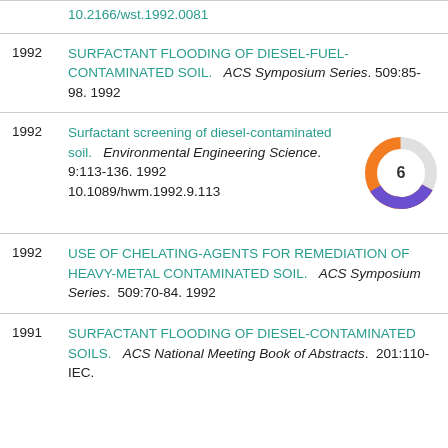10.2166/wst.1992.0081
1992  SURFACTANT FLOODING OF DIESEL-FUEL-CONTAMINATED SOIL.  ACS Symposium Series. 509:85-98. 1992
1992  Surfactant screening of diesel-contaminated soil.  Environmental Engineering Science.  9:113-136. 1992  10.1089/hwm.1992.9.113
[Figure (donut-chart): Donut chart with number 6 in center, purple and orange segments]
1992  USE OF CHELATING-AGENTS FOR REMEDIATION OF HEAVY-METAL CONTAMINATED SOIL.  ACS Symposium Series.  509:70-84. 1992
1991  SURFACTANT FLOODING OF DIESEL-CONTAMINATED SOILS.  ACS National Meeting Book of Abstracts.  201:110-IEC.